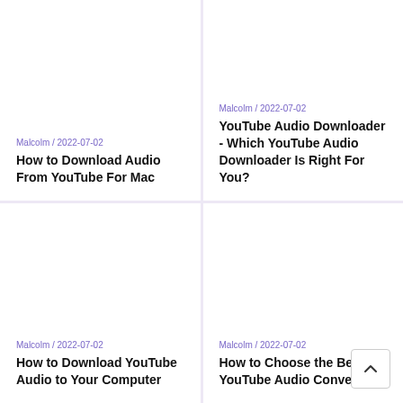Malcolm / 2022-07-02
How to Download Audio From YouTube For Mac
Malcolm / 2022-07-02
YouTube Audio Downloader - Which YouTube Audio Downloader Is Right For You?
Malcolm / 2022-07-02
How to Download YouTube Audio to Your Computer
Malcolm / 2022-07-02
How to Choose the Best YouTube Audio Converter